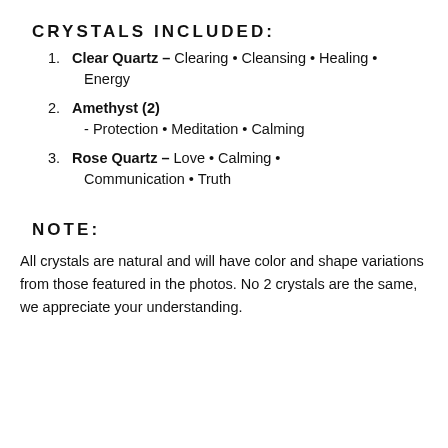CRYSTALS INCLUDED:
Clear Quartz – Clearing • Cleansing • Healing • Energy
Amethyst (2) - Protection • Meditation • Calming
Rose Quartz  – Love • Calming • Communication • Truth
NOTE:
All crystals are natural and will have color and shape variations from those featured in the photos. No 2 crystals are the same, we appreciate your understanding.